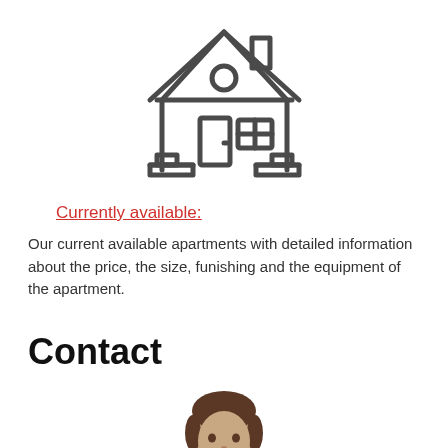[Figure (illustration): Line-art icon of a house with a chimney, circular window, door, and window, drawn in dark gray strokes on white background]
Currently available:
Our current available apartments with detailed information about the price, the size, funishing and the equipment of the apartment.
Contact
[Figure (photo): Photo of a woman with dark hair, cropped at the top of the frame showing her face and top of head]